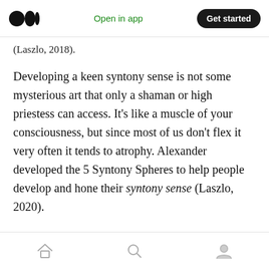Open in app  Get started
(Laszlo, 2018).
Developing a keen syntony sense is not some mysterious art that only a shaman or high priestess can access. It’s like a muscle of your consciousness, but since most of us don’t flex it very often it tends to atrophy. Alexander developed the 5 Syntony Spheres to help people develop and hone their syntony sense (Laszlo, 2020).
The First Syntony Sphere
Focus: The intra-personal dimension of
home  search  profile